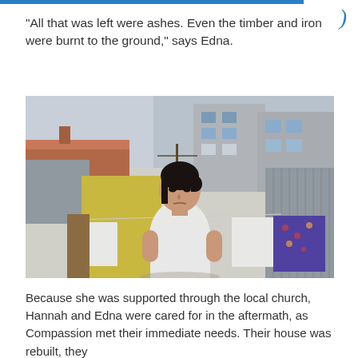“All that was left were ashes. Even the timber and iron were burnt to the ground,” says Edna.
[Figure (photo): A young woman in a white t-shirt stands outdoors in what appears to be a low-income urban neighborhood. Laundry hangs on lines behind her. Buildings with corrugated metal roofs and concrete facades are visible in the background.]
Because she was supported through the local church, Hannah and Edna were cared for in the aftermath, as Compassion met their immediate needs. Their house was rebuilt, they